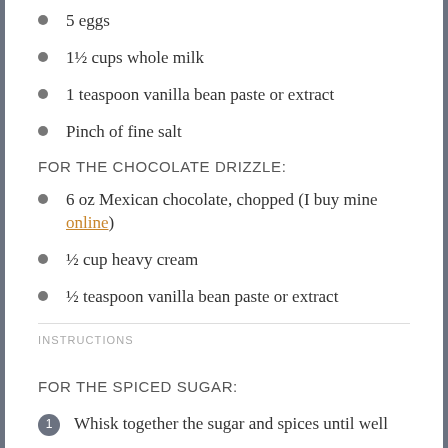5 eggs
1½ cups whole milk
1 teaspoon vanilla bean paste or extract
Pinch of fine salt
FOR THE CHOCOLATE DRIZZLE:
6 oz Mexican chocolate, chopped (I buy mine online)
½ cup heavy cream
½ teaspoon vanilla bean paste or extract
INSTRUCTIONS
FOR THE SPICED SUGAR:
Whisk together the sugar and spices until well